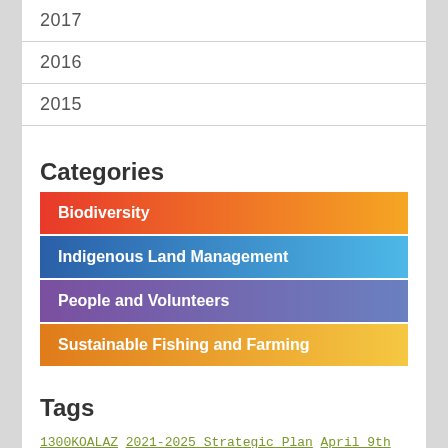2017
2016
2015
Categories
Biodiversity
Indigenous Land Management
People and Volunteers
Sustainable Fishing and Farming
Tags
1300KOALAZ 2021-2025 Strategic Plan April 9th April 19th and 20th April 23 Award Award winners Bushfire Recovery Clayton Bay Nursery Dr Terry Reardon